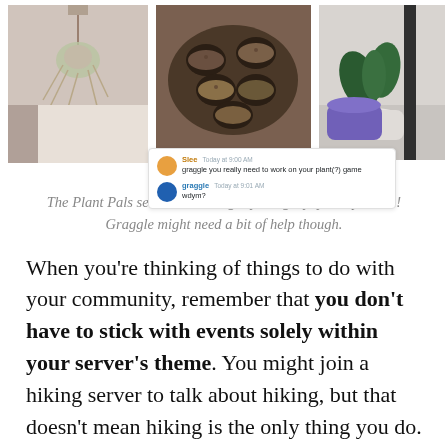[Figure (screenshot): Collage of three plant photos with a Discord chat overlay showing Slee saying 'graggle you really need to work on your plant(?) game' and graggle responding 'wdym?']
The Plant Pals server is running a photography competition! Graggle might need a bit of help though.
When you’re thinking of things to do with your community, remember that you don’t have to stick with events solely within your server’s theme. You might join a hiking server to talk about hiking, but that doesn’t mean hiking is the only thing you do. (Unless hiking 24/7 is really all you do, in which case, that’s impressive.)